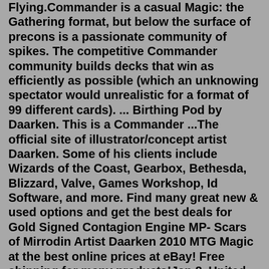Flying.Commander is a casual Magic: the Gathering format, but below the surface of precons is a passionate community of spikes. The competitive Commander community builds decks that win as efficiently as possible (which an unknowing spectator would unrealistic for a format of 99 different cards). ... Birthing Pod by Daarken. This is a Commander ...The official site of illustrator/concept artist Daarken. Some of his clients include Wizards of the Coast, Gearbox, Bethesda, Blizzard, Valve, Games Workshop, Id Software, and more. Find many great new & used options and get the best deals for Gold Signed Contagion Engine MP- Scars of Mirrodin Artist Daarken 2010 MTG Magic at the best online prices at eBay! Free shipping for many products!Jan 8. United States. Deviant for 19 years. www.daarken.com. He / Him. Badges. My Bio. In the early years of his youth, Daarken attended the Academy of Art University in San Francisco. Most of his days were spent huddled over a sketchbook at a fire...